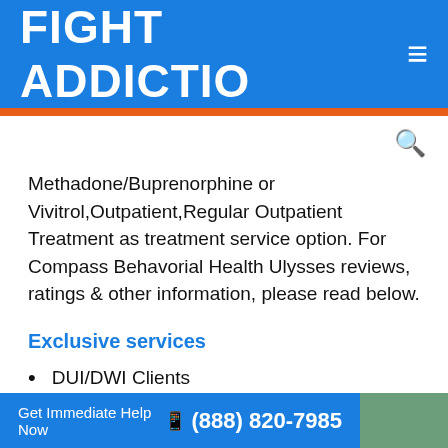FIGHT ADDICTIO ≡
Methadone/Buprenorphine or Vivitrol,Outpatient,Regular Outpatient Treatment as treatment service option. For Compass Behavorial Health Ulysses reviews, ratings & other information, please read below.
Exclusive services
DUI/DWI Clients
Language Services
Get Immediate Help Now  (888) 820-7985